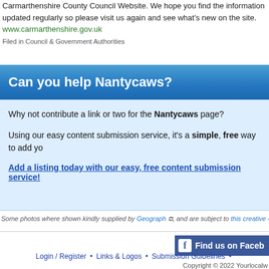Carmarthenshire County Council Website. We hope you find the information updated regularly so please visit us again and see what's new on the site.
www.carmarthenshire.gov.uk
Filed in Council & Government Authorities
Can you help Nantycaws?
Why not contribute a link or two for the Nantycaws page?
Using our easy content submission service, it's a simple, free way to add yo
Add a listing today with our easy, free content submission service!
Some photos where shown kindly supplied by Geograph, and are subject to this creative comm
Login / Register • Links & Logos • Submission Guidelines •
Copyright © 2022 Yourlocalw